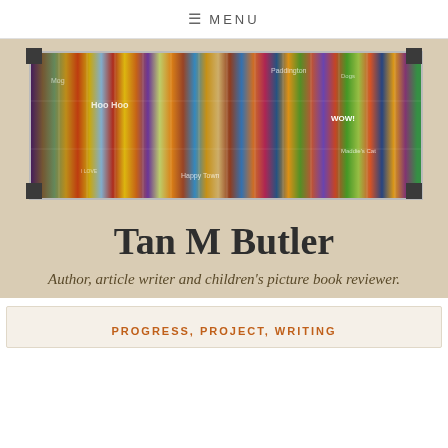≡ MENU
[Figure (photo): A spread of colorful children's picture books photographed from above, including titles like Paddington, Hoo Hoo, WOW!, Dogs, Maddie's Cat, and many others, displayed in a white frame with dark corner brackets on a beige background.]
Tan M Butler
Author, article writer and children's picture book reviewer.
PROGRESS, PROJECT, WRITING